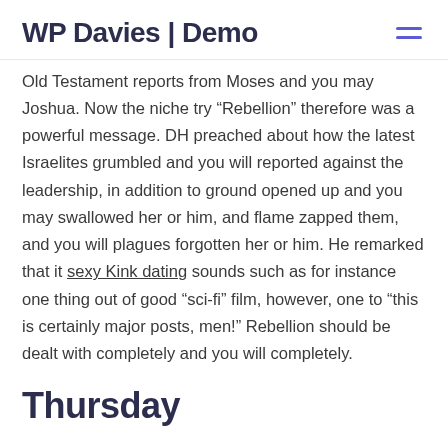WP Davies | Demo
Old Testament reports from Moses and you may Joshua. Now the niche try “Rebellion” therefore was a powerful message. DH preached about how the latest Israelites grumbled and you will reported against the leadership, in addition to ground opened up and you may swallowed her or him, and flame zapped them, and you will plagues forgotten her or him. He remarked that it sexy Kink dating sounds such as for instance one thing out of good “sci-fi” film, however, one to “this is certainly major posts, men!” Rebellion should be dealt with completely and you will completely.
Thursday